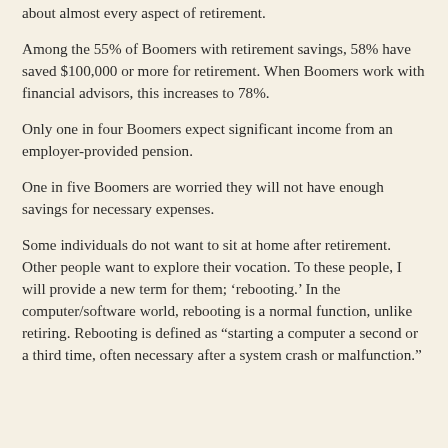about almost every aspect of retirement.
Among the 55% of Boomers with retirement savings, 58% have saved $100,000 or more for retirement. When Boomers work with financial advisors, this increases to 78%.
Only one in four Boomers expect significant income from an employer-provided pension.
One in five Boomers are worried they will not have enough savings for necessary expenses.
Some individuals do not want to sit at home after retirement. Other people want to explore their vocation. To these people, I will provide a new term for them; ‘rebooting.’ In the computer/software world, rebooting is a normal function, unlike retiring. Rebooting is defined as “starting a computer a second or a third time, often necessary after a system crash or malfunction.”